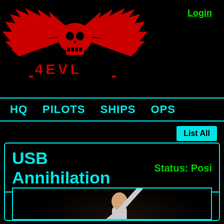Login
[Figure (logo): Red skull with wings logo above stylized text reading 'HELL' or similar in red on black background]
HQ  PILOTS  SHIPS  OPS
List All
USB Annihilation  Status: Posi
[Figure (photo): Person with arm raised against dark black background, appears to be a performer or pilot photo]